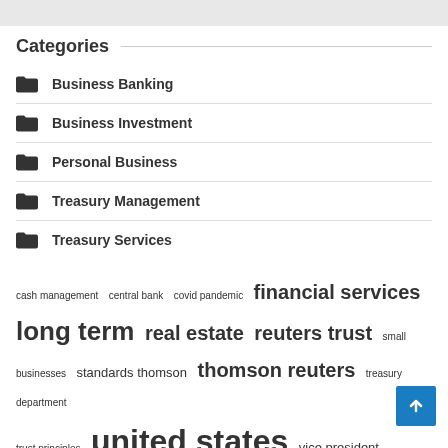Categories
Business Banking
Business Investment
Personal Business
Treasury Management
Treasury Services
cash management  central bank  covid pandemic  financial services  long term  real estate  reuters trust  small businesses  standards thomson  thomson reuters  treasury department  trust principles  united states  vice president  wall street